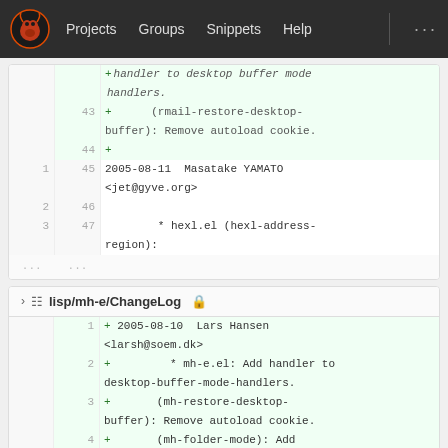Projects  Groups  Snippets  Help  ...
[Figure (screenshot): Code diff view showing changes to a ChangeLog file. Lines 43-44 show added lines with + markers (rmail-restore-desktop-buffer): Remove autoload cookie., and line 44 is blank. Lines 1/45, 2/46, 3/47 show plain diff context: 2005-08-11 Masatake YAMATO <jet@gyve.org> and * hexl.el (hexl-address-region): followed by ...]
lisp/mh-e/ChangeLog
[Figure (screenshot): Code diff view showing lisp/mh-e/ChangeLog. Line 1: + 2005-08-10  Lars Hansen <larsh@soem.dk>. Line 2: +         * mh-e.el: Add handler to desktop-buffer-mode-handlers. Line 3: +         (mh-restore-desktop-buffer): Remove autoload cookie. Line 4: +         (mh-folder-mode): Add]